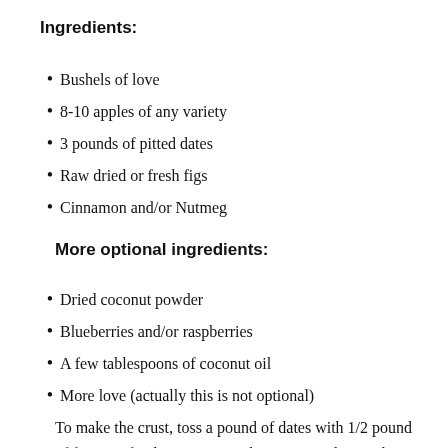Ingredients:
Bushels of love
8-10 apples of any variety
3 pounds of pitted dates
Raw dried or fresh figs
Cinnamon and/or Nutmeg
More optional ingredients:
Dried coconut powder
Blueberries and/or raspberries
A few tablespoons of coconut oil
More love (actually this is not optional)
To make the crust, toss a pound of dates with 1/2 pound of figs in a food processor, and process until it reaches a cookie dough consistency. (Optional step: add a thin layer